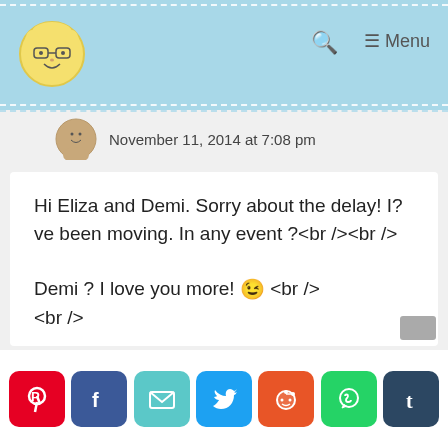Blog header with avatar, search icon, and Menu
November 11, 2014 at 7:08 pm
Hi Eliza and Demi. Sorry about the delay! I?ve been moving. In any event ?<br /><br />

Demi ? I love you more! 😉 <br />
<br />

Eliza, yep! For the most part, you can multiply any recipe and it should work. Things start to fall
[Figure (illustration): Row of social share buttons: Pinterest, Facebook, Email, Twitter, Reddit, WhatsApp, Tumblr]